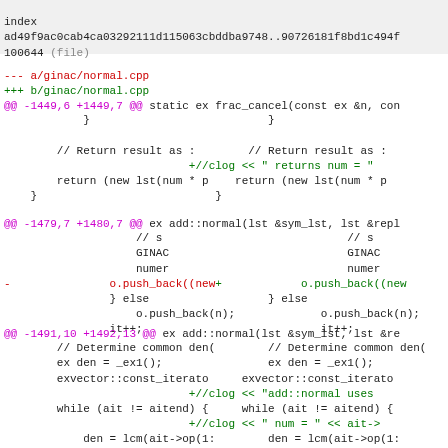index
ad49f9ac0cab4ca03292111d115063cbddba9748..90726181f8bd1c494f
100644 (file)
--- a/ginac/normal.cpp
+++ b/ginac/normal.cpp
@@ -1449,6 +1449,7 @@ static ex frac_cancel(const ex &n, co
}                           }

        // Return result as :        // Return result as :
                            +//clog << " returns num = "
        return (new lst(num * p    return (new lst(num * p
    }                           }
@@ -1479,7 +1480,7 @@ ex add::normal(lst &sym_lst, lst &repl
// s                            // s
                    GINAC                           GINAC
                    numer                           numer
-               o.push_back((new+            o.push_back((new
                } else                  } else
                    o.push_back(n);             o.push_back(n);
                it++;                           it++;
@@ -1491,10 +1492,13 @@ ex add::normal(lst &sym_lst, lst &re
// Determine common den(        // Determine common den(
        ex den = _ex1();                ex den = _ex1();
        exvector::const_iterato     exvector::const_iterato
                            +//clog << "add::normal uses
        while (ait != aitend) {     while (ait != aitend) {
                            +//clog << " num = " << ait->
            den = lcm(ait->op(1:        den = lcm(ait->op(1:
            ait++;                      ait++;
        }                           }
                            +//clog << " common denominat